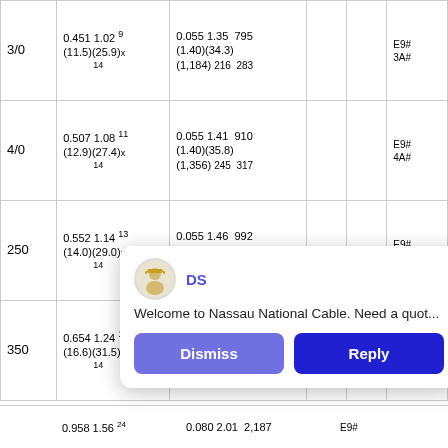| Size | Resistance/Capacitance | Inductance | Col3 | Col4 | Part# |
| --- | --- | --- | --- | --- | --- |
| 3/0 | 0.451 1.02
(11.5)(25.9)
9x14 | 0.055 1.35 795
(1.40)(34.3)(1,184)
216 283 |  |  | E9#
3A# |
| 4/0 | 0.507 1.08
(12.9)(27.4)
11x14 | 0.055 1.41 910
(1.40)(35.8)(1,356)
245 317 |  |  | E9#
4A# |
| 250 | 0.552 1.14
(14.0)(29.0)
13x14 | 0.055 1.46 992
(1.40)(37.1)(1,478)
269 343 |  |  | E9#
A1# |
| 350 | 0.654 1.24
(16.6)(31.5)
18x14 | 0.055 1.56 1,210
(1.40)(39.5)(1,804)
322 397 |  |  | E9#
A3# |
[Figure (screenshot): Chat popup overlay with avatar, DS name in blue, message 'Welcome to Nassau National Cable. Need a quot...', and two buttons: Dismiss and Reply]
|  | 0.958 1.56 (truncated) | 0.080 2.01 2,187 (truncated) |  |  | E9# |